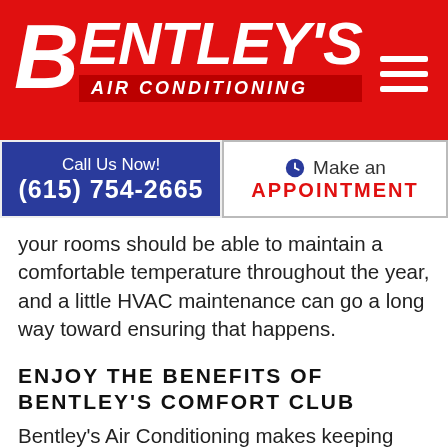[Figure (logo): Bentley's Air Conditioning logo on red background with hamburger menu icon]
Call Us Now!
(615) 754-2665
Make an APPOINTMENT
your rooms should be able to maintain a comfortable temperature throughout the year, and a little HVAC maintenance can go a long way toward ensuring that happens.
ENJOY THE BENEFITS OF BENTLEY'S COMFORT CLUB
Bentley's Air Conditioning makes keeping your HVAC system maintained and your home comfortable all year as simple as signing up for Bentley's Comfort Club. With membership in the club, you will receive two maintenance visits per year and enjoy many